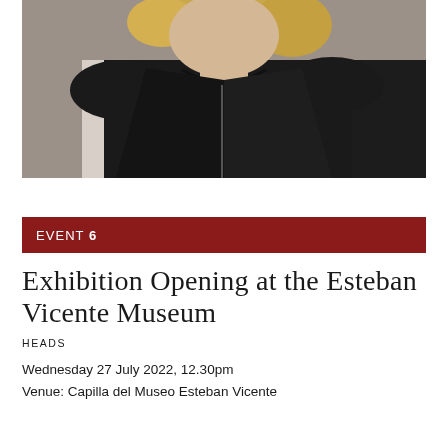[Figure (photo): Portrait photo of a blonde woman wearing a black leather vest/jacket, cropped at torso level, gray background.]
EVENT 6
Exhibition Opening at the Esteban Vicente Museum
HEADS
Wednesday 27 July 2022, 12.30pm
Venue: Capilla del Museo Esteban Vicente